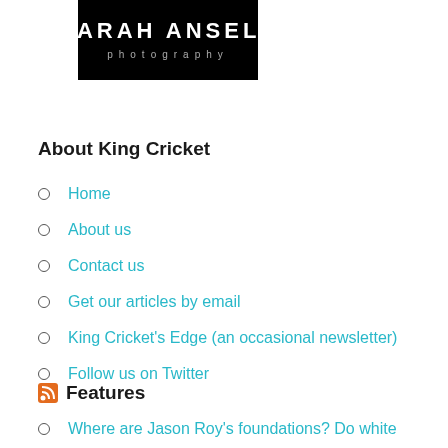[Figure (logo): Sarah Ansell Photography logo - black background with white text 'sarah ansell' in stylized font and 'photography' in smaller letters below]
About King Cricket
Home
About us
Contact us
Get our articles by email
King Cricket's Edge (an occasional newsletter)
Follow us on Twitter
Features
Where are Jason Roy's foundations? Do white